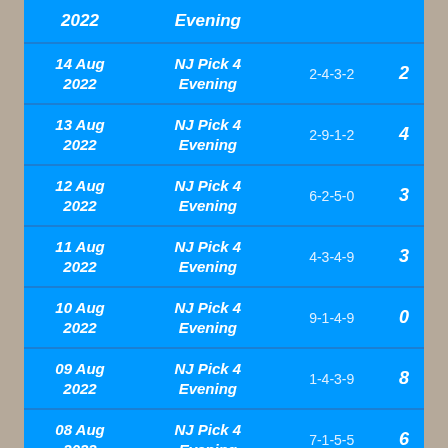| Date | Game | Numbers | ? |
| --- | --- | --- | --- |
| 2022 | Evening |  |  |
| 14 Aug 2022 | NJ Pick 4 Evening | 2-4-3-2 | 2 |
| 13 Aug 2022 | NJ Pick 4 Evening | 2-9-1-2 | 4 |
| 12 Aug 2022 | NJ Pick 4 Evening | 6-2-5-0 | 3 |
| 11 Aug 2022 | NJ Pick 4 Evening | 4-3-4-9 | 3 |
| 10 Aug 2022 | NJ Pick 4 Evening | 9-1-4-9 | 0 |
| 09 Aug 2022 | NJ Pick 4 Evening | 1-4-3-9 | 8 |
| 08 Aug 2022 | NJ Pick 4 Evening | 7-1-5-5 | 6 |